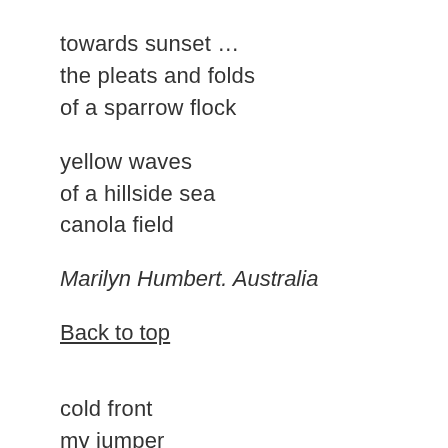towards sunset …
the pleats and folds
of a sparrow flock
yellow waves
of a hillside sea
canola field
Marilyn Humbert. Australia
Back to top
cold front
my jumper
inside-out
sea sounds